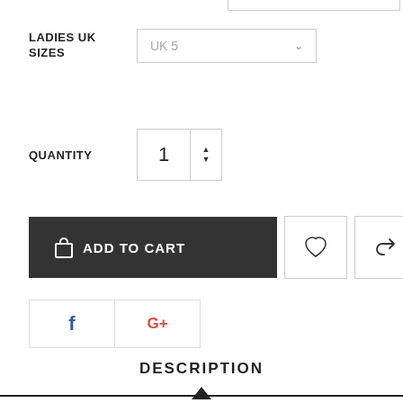LADIES UK SIZES
UK 5
QUANTITY
1
[Figure (screenshot): ADD TO CART button and wishlist/share icon buttons]
[Figure (screenshot): Facebook and Google+ social sharing buttons]
DESCRIPTION
The women's 574 is iconic. With clean and classic lines, this die cut EVA sneaker makes a standout, everyday statement. Modern comfort upgrades mean